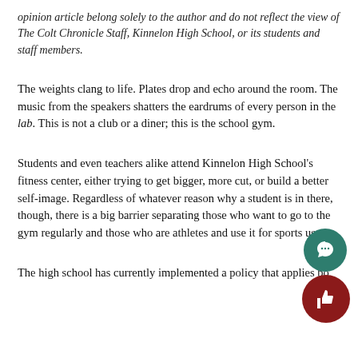opinion article belong solely to the author and do not reflect the view of The Colt Chronicle Staff, Kinnelon High School, or its students and staff members.
The weights clang to life. Plates drop and echo around the room. The music from the speakers shatters the eardrums of every person in the lab. This is not a club or a diner; this is the school gym.
Students and even teachers alike attend Kinnelon High School's fitness center, either trying to get bigger, more cut, or build a better self-image. Regardless of whatever reason why a student is in there, though, there is a big barrier separating those who want to go to the gym regularly and those who are athletes and use it for sports use.
The high school has currently implemented a policy that applies bo… non-in-season athletes and those who are in-season. Those who are not…